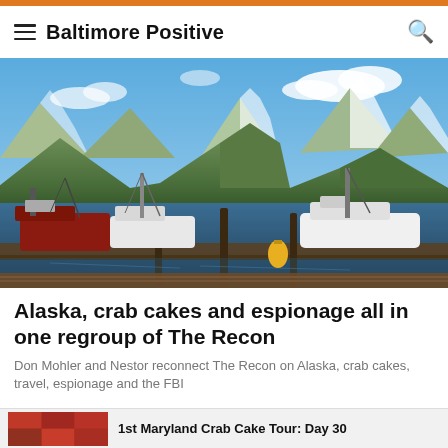Baltimore Positive
[Figure (photo): A marina with many boats docked in the foreground and large snow-capped mountains under a partly cloudy blue sky in the background. Alaska harbor scene.]
Alaska, crab cakes and espionage all in one regroup of The Recon
Don Mohler and Nestor reconnect The Recon on Alaska, crab cakes, travel, espionage and the FBI
1st Maryland Crab Cake Tour: Day 30